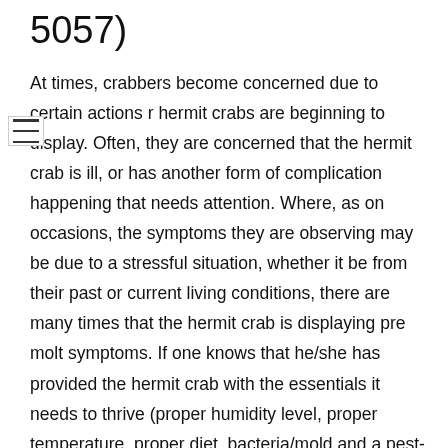5057)
At times, crabbers become concerned due to certain actions r hermit crabs are beginning to display. Often, they are concerned that the hermit crab is ill, or has another form of complication happening that needs attention. Where, as on occasions, the symptoms they are observing may be due to a stressful situation, whether it be from their past or current living conditions, there are many times that the hermit crab is displaying pre molt symptoms. If one knows that he/she has provided the hermit crab with the essentials it needs to thrive (proper humidity level, proper temperature, proper diet, bacteria/mold and a pest-free environment, etc.), what you are beginning to observe may very well be pre  molt symptoms that the hermit crab is displaying. With the numerous molts we have had, I would like to share some of the pre molt symptoms I have observed with our hermit crabs and hope it can be of